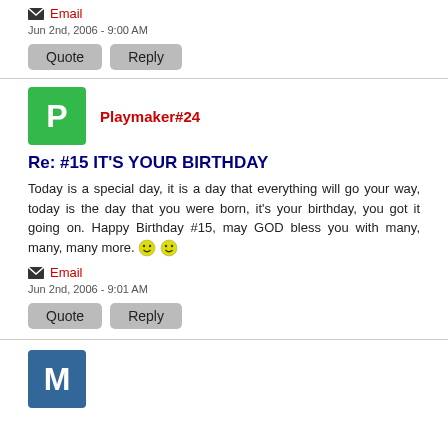Email
Jun 2nd, 2006 - 9:00 AM
Quote  Reply
[Figure (other): Green avatar with letter P for user Playmaker#24]
Playmaker#24
Re: #15 IT'S YOUR BIRTHDAY
Today is a special day, it is a day that everything will go your way, today is the day that you were born, it's your birthday, you got it going on. Happy Birthday #15, may GOD bless you with many, many, many more.
Email
Jun 2nd, 2006 - 9:01 AM
Quote  Reply
[Figure (other): Blue avatar with letter M for next user]